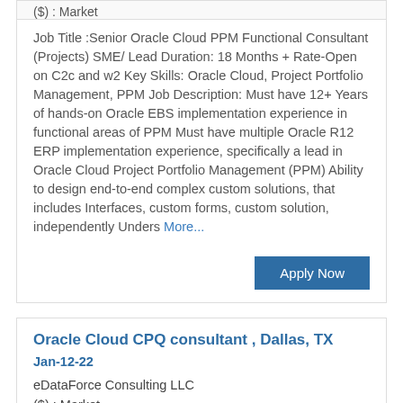($) : Market
Job Title :Senior Oracle Cloud PPM Functional Consultant (Projects) SME/ Lead Duration: 18 Months + Rate-Open on C2c and w2 Key Skills: Oracle Cloud, Project Portfolio Management, PPM Job Description: Must have 12+ Years of hands-on Oracle EBS implementation experience in functional areas of PPM Must have multiple Oracle R12 ERP implementation experience, specifically a lead in Oracle Cloud Project Portfolio Management (PPM) Ability to design end-to-end complex custom solutions, that includes Interfaces, custom forms, custom solution, independently Unders More...
Apply Now
Oracle Cloud CPQ consultant , Dallas, TX
Jan-12-22
eDataForce Consulting LLC
($) : Market
Job Title: Oracle Cloud CPQ consultant Duration: